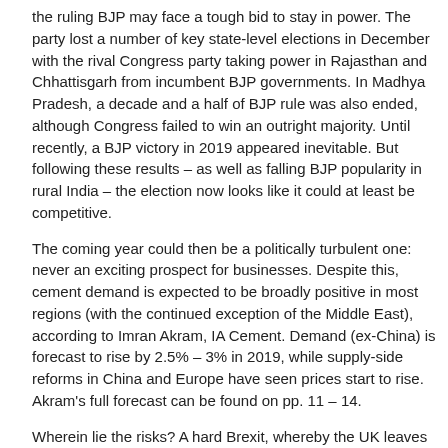the ruling BJP may face a tough bid to stay in power. The party lost a number of key state-level elections in December with the rival Congress party taking power in Rajasthan and Chhattisgarh from incumbent BJP governments. In Madhya Pradesh, a decade and a half of BJP rule was also ended, although Congress failed to win an outright majority. Until recently, a BJP victory in 2019 appeared inevitable. But following these results – as well as falling BJP popularity in rural India – the election now looks like it could at least be competitive.
The coming year could then be a politically turbulent one: never an exciting prospect for businesses. Despite this, cement demand is expected to be broadly positive in most regions (with the continued exception of the Middle East), according to Imran Akram, IA Cement. Demand (ex-China) is forecast to rise by 2.5% – 3% in 2019, while supply-side reforms in China and Europe have seen prices start to rise. Akram's full forecast can be found on pp. 11 – 14.
Wherein lie the risks? A hard Brexit, whereby the UK leaves the EU without a deal, falling back on WTO trade rules, would hit the UK and European economies. The US political scene could also prove unpredictable in 2019, although Goldman Sachs expects a